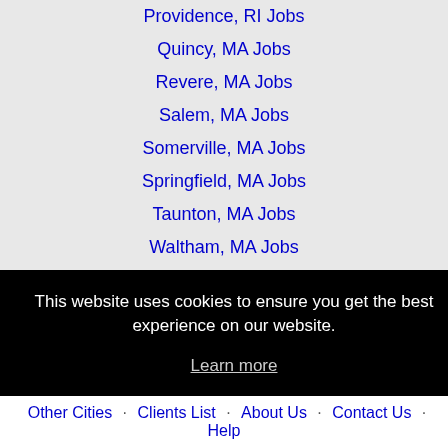Providence, RI Jobs
Quincy, MA Jobs
Revere, MA Jobs
Salem, MA Jobs
Somerville, MA Jobs
Springfield, MA Jobs
Taunton, MA Jobs
Waltham, MA Jobs
Warwick, RI Jobs
West Hartford, CT Jobs
This website uses cookies to ensure you get the best experience on our website.
Learn more
Got it!
Other Cities · Clients List · About Us · Contact Us · Help